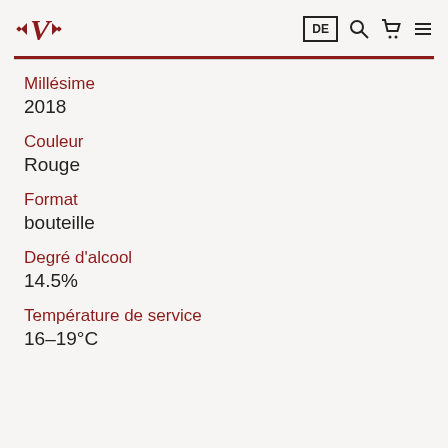V• DE [search] [cart] [menu]
Millésime
2018
Couleur
Rouge
Format
bouteille
Degré d'alcool
14.5%
Température de service
16–19°C